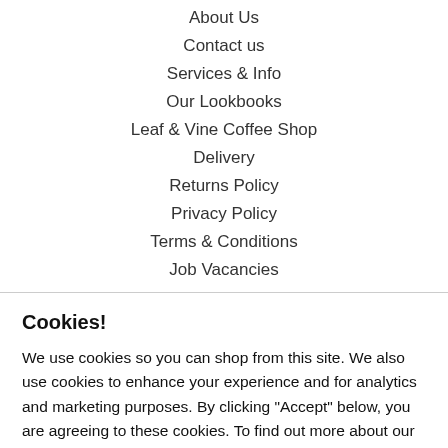About Us
Contact us
Services & Info
Our Lookbooks
Leaf & Vine Coffee Shop
Delivery
Returns Policy
Privacy Policy
Terms & Conditions
Job Vacancies
Cookies!
We use cookies so you can shop from this site. We also use cookies to enhance your experience and for analytics and marketing purposes. By clicking "Accept" below, you are agreeing to these cookies. To find out more about our cookies please click here.
Accept
Decline